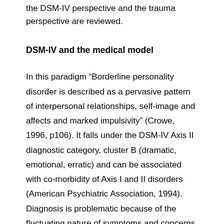the DSM-IV perspective and the trauma perspective are reviewed.
DSM-IV and the medical model
In this paradigm “Borderline personality disorder is described as a pervasive pattern of interpersonal relationships, self-image and affects and marked impulsivity” (Crowe, 1996, p106). It falls under the DSM-IV Axis II diagnostic category, cluster B (dramatic, emotional, erratic) and can be associated with co-morbidity of Axis I and II disorders (American Psychiatric Association, 1994). Diagnosis is problematic because of the fluctuating nature of symptoms and concerns that are presented by the client (Arntz, 1994).